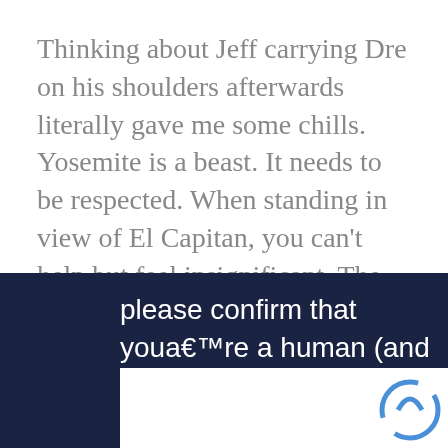Thinking about Jeff carrying Dre on his shoulders afterwards literally gave me some chills. Yosemite is a beast. It needs to be respected. When standing in view of El Capitan, you can't help but feel insignificant. The Merced River that carries these falls is impressively powerful. Several people have died in the river and that is not surprising with the massive power this thing possesses.
[Figure (screenshot): CAPTCHA verification prompt on dark navy background reading 'please confirm that youa€™re a human (and not a spambot).' with a reCAPTCHA widget below.]